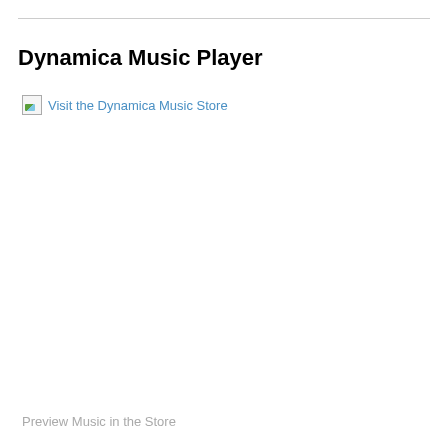Dynamica Music Player
[Figure (other): Broken image icon followed by link text 'Visit the Dynamica Music Store']
Preview Music in the Store